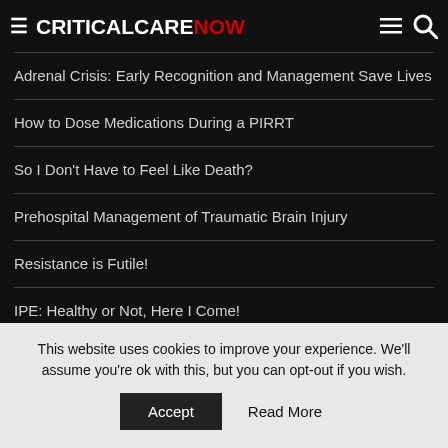CRITICALCARENOW
Adrenal Crisis: Early Recognition and Management Save Lives
How to Dose Medications During a PIRRT
So I Don't Have to Feel Like Death?
Prehospital Management of Traumatic Brain Injury
Resistance is Futile!
IPE: Healthy or Not, Here I Come!
A Losartan Dream for COPD
This website uses cookies to improve your experience. We'll assume you're ok with this, but you can opt-out if you wish. Accept  Read More